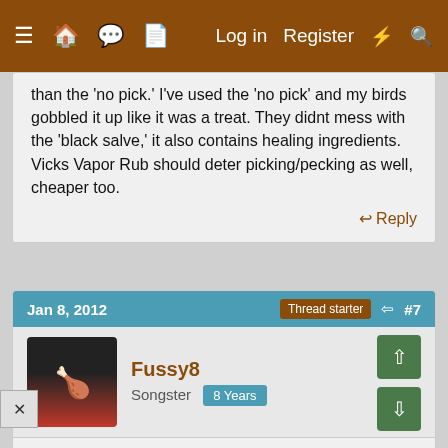Navigation bar with menu, home, forum, document icons and Log in, Register, flash, search links
than the 'no pick.' I've used the 'no pick' and my birds gobbled it up like it was a treat. They didnt mess with the 'black salve,' it also contains healing ingredients. Vicks Vapor Rub should deter picking/pecking as well, cheaper too.
Reply
Jan 8, 2012  Thread starter  #7
Fussy8
Songster  8 Years
Thank you and they did it again! Im ready to cull some hens!!!!!!! Also would the vicks burn its an open wound!!!! I FEEL SO HELPLESS!!!
Reply